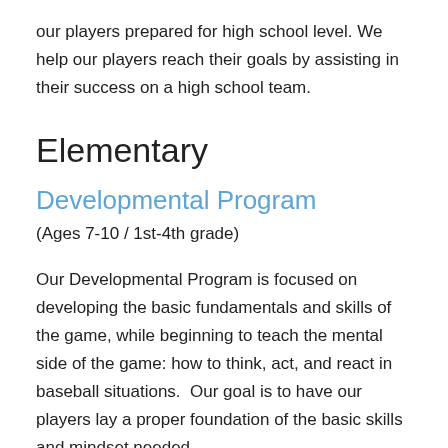our players prepared for high school level. We help our players reach their goals by assisting in their success on a high school team.
Elementary
Developmental Program
(Ages 7-10 / 1st-4th grade)
Our Developmental Program is focused on developing the basic fundamentals and skills of the game, while beginning to teach the mental side of the game: how to think, act, and react in baseball situations.  Our goal is to have our players lay a proper foundation of the basic skills and mindset needed